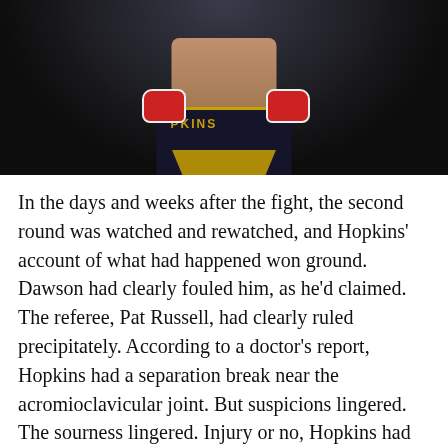[Figure (photo): A boxer (Hopkins) in dark shorts with gold trim and red gloves, photographed from torso down in a dark arena setting.]
In the days and weeks after the fight, the second round was watched and rewatched, and Hopkins' account of what had happened won ground. Dawson had clearly fouled him, as he'd claimed. The referee, Pat Russell, had clearly ruled precipitately. According to a doctor's report, Hopkins had a separation break near the acromioclavicular joint. But suspicions lingered. The sourness lingered. Injury or no, Hopkins had put on a flop show. For his own reputation he must demand a rematch, people said. Online and on sports radio it was decided, not for the first time — nor the tenth — that he should retire.
Boxing fans feel jilted after many if not most fights, of